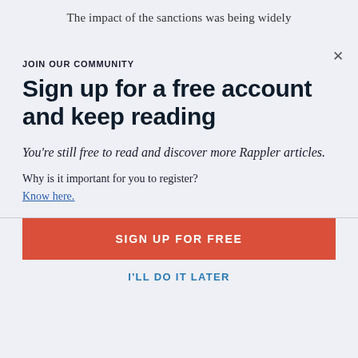The impact of the sanctions was being widely
JOIN OUR COMMUNITY
Sign up for a free account and keep reading
You're still free to read and discover more Rappler articles.
Why is it important for you to register?
Know here.
SIGN UP FOR FREE
I'LL DO IT LATER